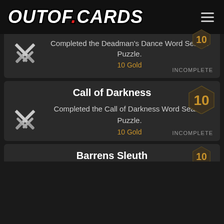OUTOF.CARDS
Completed the Deadman's Dance Word Search Puzzle. 10 Gold INCOMPLETE
Call of Darkness
Completed the Call of Darkness Word Search Puzzle. 10 Gold INCOMPLETE
Barrens Sleuth